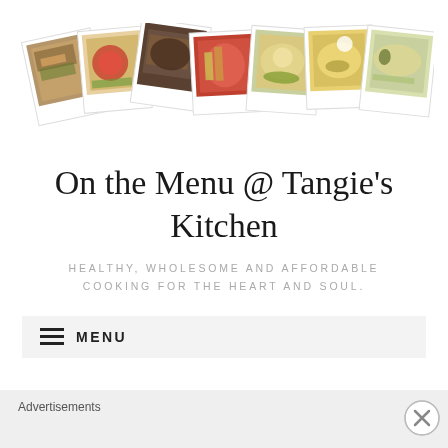[Figure (photo): A row of polaroid-style food photos showing various dishes including casserole, soup/stew, burger, mushrooms, eggs benedict, creamy soup, and an omelet or crepe]
On the Menu @ Tangie's Kitchen
HEALTHY, WHOLESOME AND AFFORDABLE COOKING FOR THE HEART AND SOUL.
≡ MENU
DAY: DECEMBER 1, 2016
Advertisements